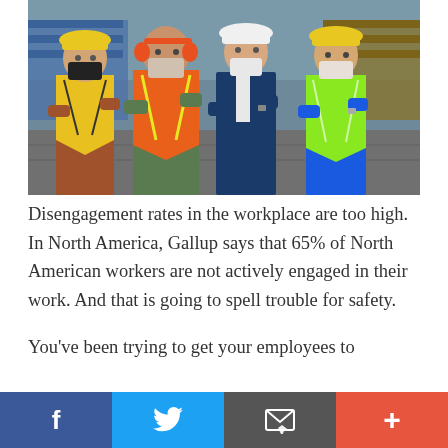[Figure (photo): Four workers wearing masks and safety vests/hard hats standing with arms crossed in an industrial setting with shipping containers in the background. Left to right: worker in yellow hard hat and hi-vis vest with black mask, worker in orange vest and ear protection with face mask, man in white hard hat and blue suit jacket with white mask, worker in yellow hard hat and green hi-vis vest with white mask.]
Disengagement rates in the workplace are too high. In North America, Gallup says that 65% of North American workers are not actively engaged in their work. And that is going to spell trouble for safety.
You've been trying to get your employees to
[Figure (infographic): Social media share bar at bottom with four buttons: Facebook (dark blue, 'f'), Twitter (blue, bird icon), Email/share (dark grey, envelope icon), and More/Plus (red-orange, '+' icon)]